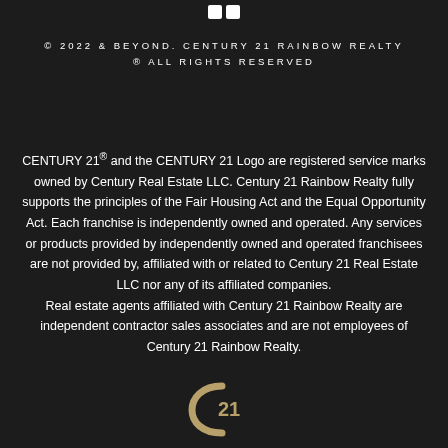[Figure (logo): Facebook icon logo at the top center, white on dark background]
© 2022 & BEYOND. CENTURY 21 RAINBOW REALTY ® ALL RIGHTS RESERVED
CENTURY 21® and the CENTURY 21 Logo are registered service marks owned by Century Real Estate LLC. Century 21 Rainbow Realty fully supports the principles of the Fair Housing Act and the Equal Opportunity Act. Each franchise is independently owned and operated. Any services or products provided by independently owned and operated franchisees are not provided by, affiliated with or related to Century 21 Real Estate LLC nor any of its affiliated companies.
Real estate agents affiliated with Century 21 Rainbow Realty are independent contractor sales associates and are not employees of Century 21 Rainbow Realty.
[Figure (logo): Century 21 C21 logo at the bottom center in gold/bronze color]